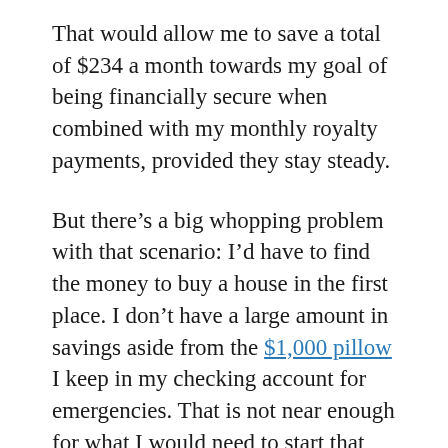That would allow me to save a total of $234 a month towards my goal of being financially secure when combined with my monthly royalty payments, provided they stay steady.
But there's a big whopping problem with that scenario: I'd have to find the money to buy a house in the first place. I don't have a large amount in savings aside from the $1,000 pillow I keep in my checking account for emergencies. That is not near enough for what I would need to start that plan.
So who the hell do I think I am, getting the high-falutin' notion of becoming rich? The odds against me are so astronomical I cried